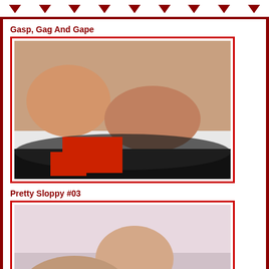decorative arrow header
Gasp, Gag And Gape
[Figure (photo): Adult content photo - two women on a zebra-print rug]
Pretty Sloppy #03
[Figure (photo): Adult content photo - man and woman on a couch]
Big Natural Tits
[Figure (infographic): Social sharing icons: Facebook, Twitter, Email, Pinterest, Tumblr, Reddit, Blogger, WordPress, VK, Add]